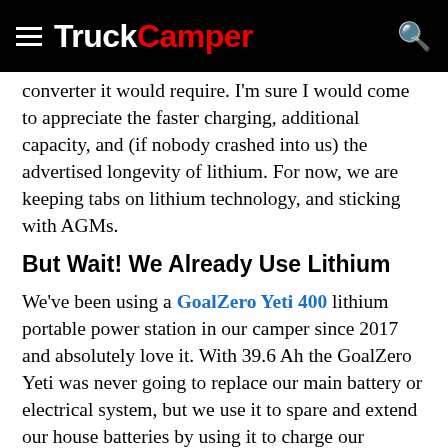TruckCamper
converter it would require. I'm sure I would come to appreciate the faster charging, additional capacity, and (if nobody crashed into us) the advertised longevity of lithium. For now, we are keeping tabs on lithium technology, and sticking with AGMs.
But Wait! We Already Use Lithium
We've been using a GoalZero Yeti 400 lithium portable power station in our camper since 2017 and absolutely love it. With 39.6 Ah the GoalZero Yeti was never going to replace our main battery or electrical system, but we use it to spare and extend our house batteries by using it to charge our phones, computers, and cameras, watch television at night, or to put a 12-volt, USB or 110-volt outlet where we need it. I have even plugged entire campers into it for photoshoots. It's indispensable.